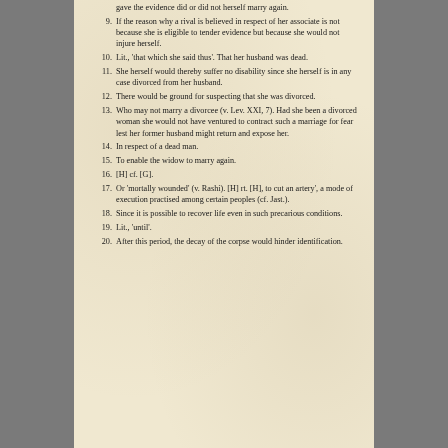gave the evidence did or did not herself marry again.
If the reason why a rival is believed in respect of her associate is not because she is eligible to tender evidence but because she would not injure herself.
Lit., 'that which she said thus'. That her husband was dead.
She herself would thereby suffer no disability since she herself is in any case divorced from her husband.
There would be ground for suspecting that she was divorced.
Who may not marry a divorcee (v. Lev. XXI, 7). Had she been a divorced woman she would not have ventured to contract such a marriage for fear lest her former husband might return and expose her.
In respect of a dead man.
To enable the widow to marry again.
[H] cf. [G].
Or 'mortally wounded' (v. Rashi). [H] rt. [H], to cut an artery', a mode of execution practised among certain peoples (cf. Jast.).
Since it is possible to recover life even in such precarious conditions.
Lit., 'until'.
After this period, the decay of the corpse would hinder identification.